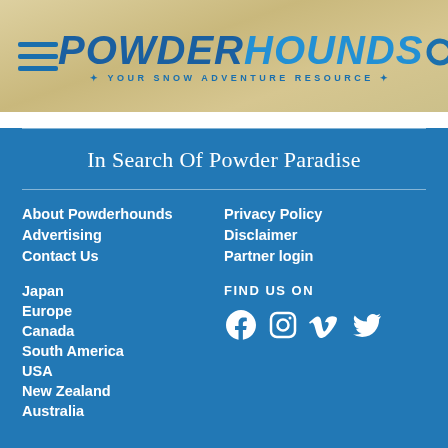[Figure (logo): PowderHounds logo with hamburger menu and search icon on a tan/beige background. Logo reads POWDERHOUNDS with tagline YOUR SNOW ADVENTURE RESOURCE.]
In Search Of Powder Paradise
About Powderhounds
Advertising
Contact Us
Privacy Policy
Disclaimer
Partner login
Japan
Europe
Canada
South America
USA
New Zealand
Australia
FIND US ON
[Figure (logo): Social media icons: Facebook, Instagram, Vimeo, Twitter in white on blue background]